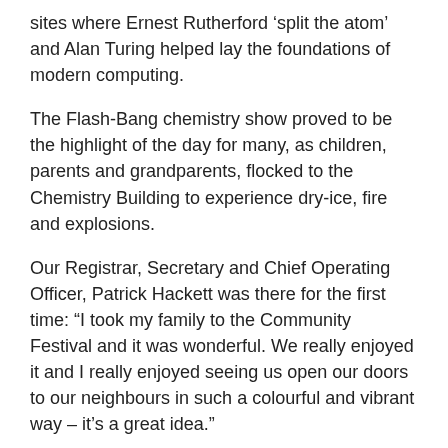sites where Ernest Rutherford 'split the atom' and Alan Turing helped lay the foundations of modern computing.
The Flash-Bang chemistry show proved to be the highlight of the day for many, as children, parents and grandparents, flocked to the Chemistry Building to experience dry-ice, fire and explosions.
Our Registrar, Secretary and Chief Operating Officer, Patrick Hackett was there for the first time: “I took my family to the Community Festival and it was wonderful. We really enjoyed it and I really enjoyed seeing us open our doors to our neighbours in such a colourful and vibrant way – it’s a great idea.”
Rob Nixon, another visitor to the event, said: “This is the third time my daughter and I have been to the University’s Community Festival. It’s a great day and fantastic way to see all the different things that go on